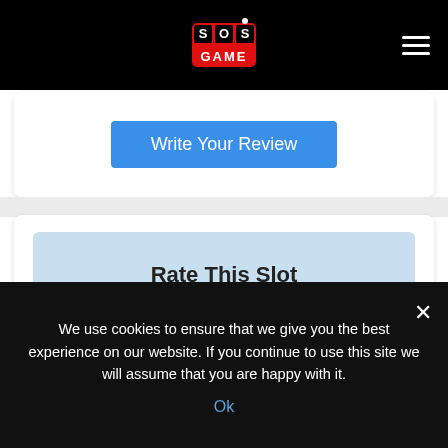[Figure (logo): SOS Game logo on black navigation bar with hamburger menu icon]
Write Your Review
[Figure (infographic): Rate This Slot widget with 4.5 out of 5 stars, score 4.50 / 5, Total Votes: 410.0, on light blue background]
We use cookies to ensure that we give you the best experience on our website. If you continue to use this site we will assume that you are happy with it.
Ok